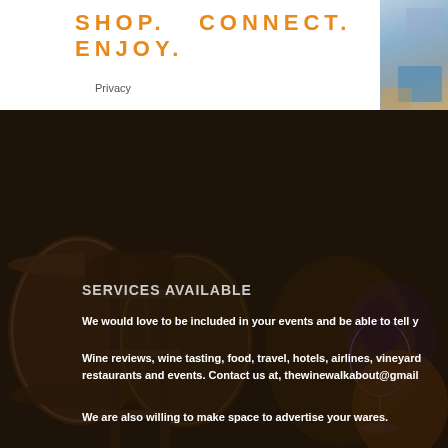SHOP.   CONNECT.   ENJOY.
Privacy
[Figure (photo): Wine cellar with oak barrels stacked on racks, with a wine glass on a barrel in the foreground, purple/blue lighting accent]
SERVICES AVAILABLE
We would love to be included in your events and be able to tell y
Wine reviews, wine tasting, food, travel, hotels, airlines, vineyard restaurants and events. Contact us at, thewinewalkabout@gmail
We are also willing to make space to advertise your wares.
[Figure (photo): Lower section showing wine barrels in warm golden/amber toned cellar]